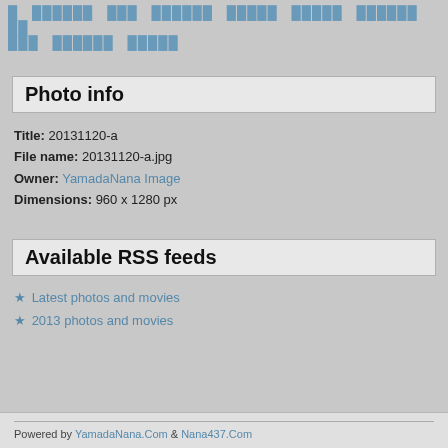█ ██████ ███ ██████ █████ █████ ██████ ██ ███ ██████ █████
Photo info
Title: 20131120-a
File name: 20131120-a.jpg
Owner: YamadaNana Image
Dimensions: 960 x 1280 px
Available RSS feeds
Latest photos and movies
2013 photos and movies
Powered by YamadaNana.Com & Nana437.Com